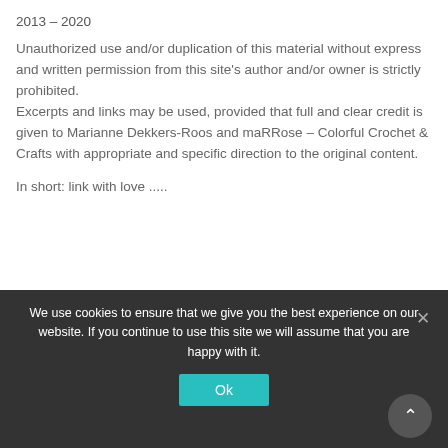2013 – 2020
Unauthorized use and/or duplication of this material without express and written permission from this site's author and/or owner is strictly prohibited. Excerpts and links may be used, provided that full and clear credit is given to Marianne Dekkers-Roos and maRRose – Colorful Crochet & Crafts with appropriate and specific direction to the original content.
In short: link with love .....
Select Language
We use cookies to ensure that we give you the best experience on our website. If you continue to use this site we will assume that you are happy with it.